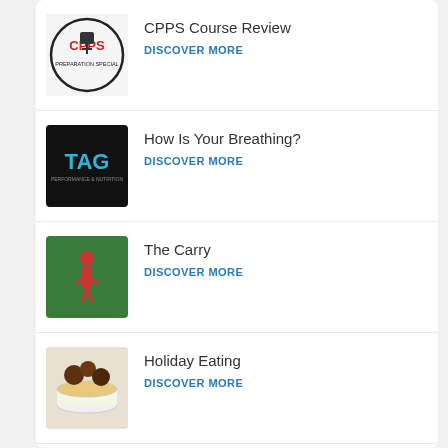CPPS Course Review
DISCOVER MORE
How Is Your Breathing?
DISCOVER MORE
The Carry
DISCOVER MORE
Holiday Eating
DISCOVER MORE
Take Risks: My Journey to Becoming a Trainer and Coach
DISCOVER MORE